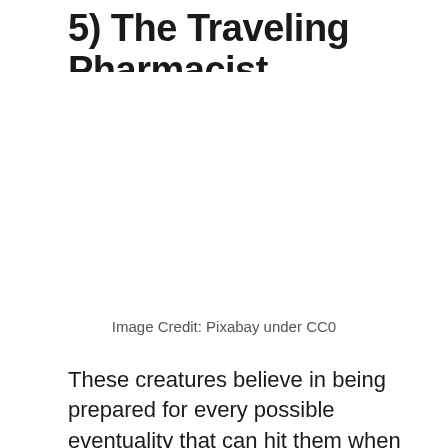5) The Traveling Pharmacist
[Figure (photo): Image placeholder area (photo not shown)]
Image Credit: Pixabay under CC0
These creatures believe in being prepared for every possible eventuality that can hit them when they move around. Their carry